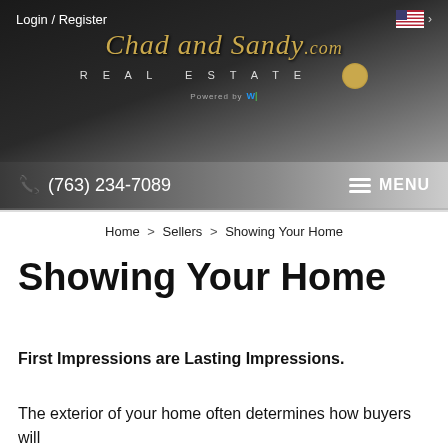Login / Register
[Figure (logo): Chad and Sandy.com Real Estate logo with gold script text on dark background, with a circular gold badge and 'Powered by W' text]
(763) 234-7089  MENU
Home > Sellers > Showing Your Home
Showing Your Home
First Impressions are Lasting Impressions.
The exterior of your home often determines how buyers will